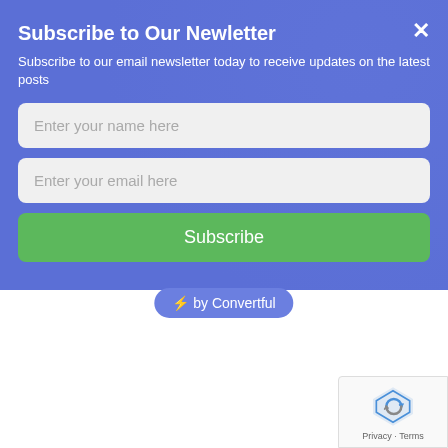Subscribe to Our Newletter
Subscribe to our email newsletter today to receive updates on the latest posts
[Figure (screenshot): Email newsletter subscription form with name field, email field, and Subscribe button on blue background]
⚡ by Convertful
The computer starts sounding beep if this self-test f
Follow are the functions of BIOS:
POST
The primary function of the BIOS is to ma